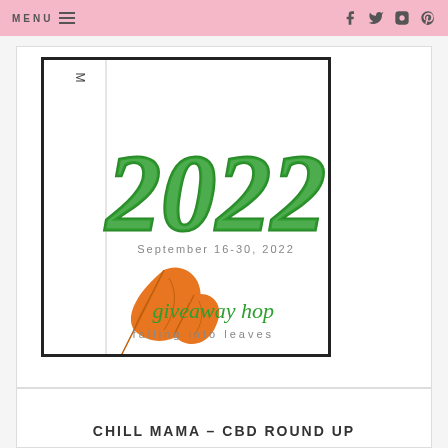MENU  ☰   f  t  ✷  ⊕
[Figure (illustration): MomatheFox 2022 Giveaway Hop 'Falling Into Leaves' event graphic, September 16-30, 2022, with large green hand-lettered '2022' and orange autumn leaf decorations, vertical text 'MomatheFox' on left side, white background with black border]
CHILL MAMA – CBD ROUND UP